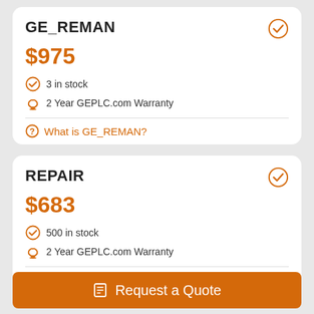GE_REMAN
$975
3 in stock
2 Year GEPLC.com Warranty
What is GE_REMAN?
REPAIR
$683
500 in stock
2 Year GEPLC.com Warranty
What is REPAIR?
Request a Quote